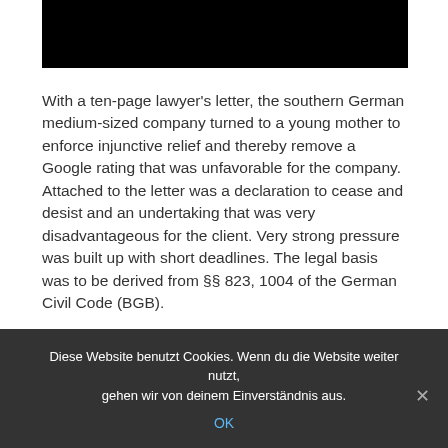[Figure (photo): Partially visible image at top of page, mostly obscured by black rectangle]
With a ten-page lawyer's letter, the southern German medium-sized company turned to a young mother to enforce injunctive relief and thereby remove a Google rating that was unfavorable for the company. Attached to the letter was a declaration to cease and desist and an undertaking that was very disadvantageous for the client. Very strong pressure was built up with short deadlines. The legal basis was to be derived from §§ 823, 1004 of the German Civil Code (BGB).
Diese Website benutzt Cookies. Wenn du die Website weiter nutzt, gehen wir von deinem Einverständnis aus.
OK